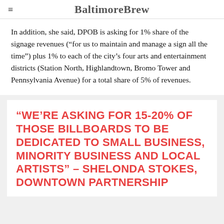BaltimoreBrew
In addition, she said, DPOB is asking for 1% share of the signage revenues (“for us to maintain and manage a sign all the time”) plus 1% to each of the city’s four arts and entertainment districts (Station North, Highlandtown, Bromo Tower and Pennsylvania Avenue) for a total share of 5% of revenues.
“WE’RE ASKING FOR 15-20% OF THOSE BILLBOARDS TO BE DEDICATED TO SMALL BUSINESS, MINORITY BUSINESS AND LOCAL ARTISTS” – SHELONDA STOKES, DOWNTOWN PARTNERSHIP